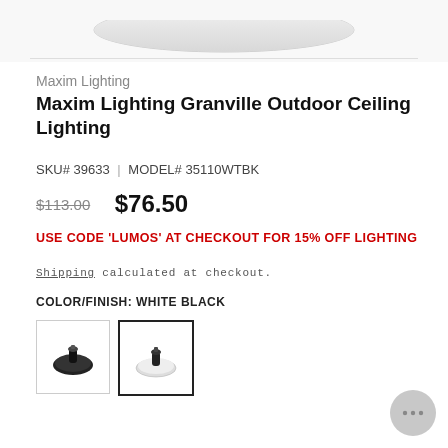[Figure (photo): Partial top view of a ceiling light fixture, white/light colored background, bottom portion of a curved ceiling lamp shade visible]
Maxim Lighting
Maxim Lighting Granville Outdoor Ceiling Lighting
SKU# 39633 | MODEL# 35110WTBK
$113.00  $76.50
USE CODE 'LUMOS' AT CHECKOUT FOR 15% OFF LIGHTING
Shipping calculated at checkout.
COLOR/FINISH: WHITE BLACK
[Figure (photo): Two thumbnail images of the Maxim Lighting Granville ceiling light fixture in dark/black finish, second one selected with border]
[Figure (other): Chat bubble icon, gray circle with ellipsis]